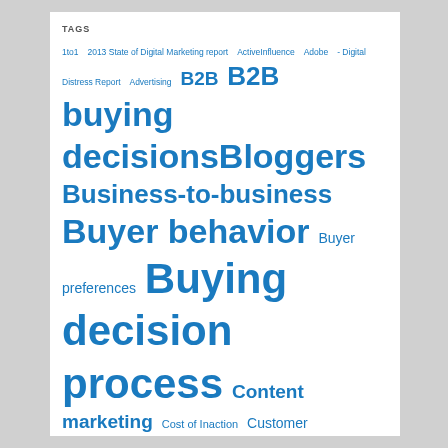TAGS
1to1 2013 State of Digital Marketing report ActiveInfluence Adobe - Digital Distress Report Advertising B2B B2B buying decisions Bloggers Business-to-business Buyer behavior Buyer preferences Buying decision process Content marketing Cost of Inaction Customer Customer Buying Decisions Customers Facebook Global Influencer Survey Google Influencer50 Influencer Marketing